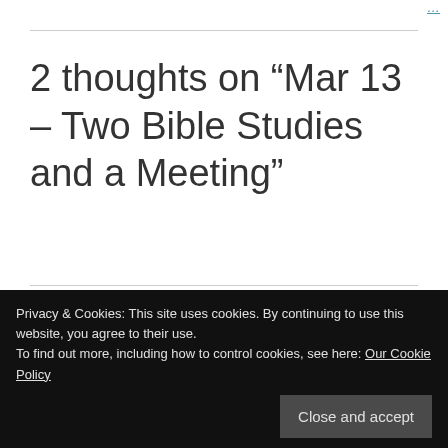...
2 thoughts on “Mar 13 – Two Bible Studies and a Meeting”
Tim Rutman
Privacy & Cookies: This site uses cookies. By continuing to use this website, you agree to their use.
To find out more, including how to control cookies, see here: Our Cookie Policy
Close and accept
things are working out for you all.